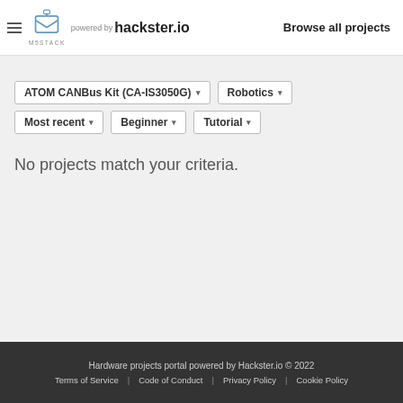M5STACK powered by hackster.io — Browse all projects
ATOM CANBus Kit (CA-IS3050G) ▾
Robotics ▾
Most recent ▾
Beginner ▾
Tutorial ▾
No projects match your criteria.
Hardware projects portal powered by Hackster.io © 2022
Terms of Service    Code of Conduct    Privacy Policy    Cookie Policy